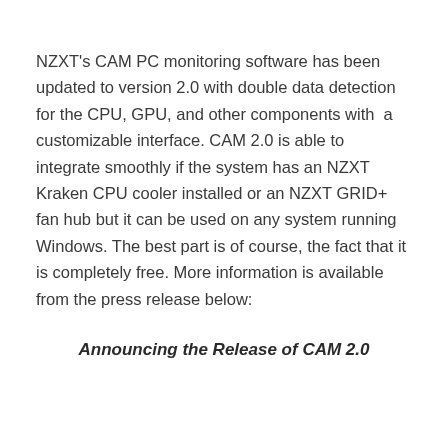NZXT's CAM PC monitoring software has been updated to version 2.0 with double data detection for the CPU, GPU, and other components with a customizable interface. CAM 2.0 is able to integrate smoothly if the system has an NZXT Kraken CPU cooler installed or an NZXT GRID+ fan hub but it can be used on any system running Windows. The best part is of course, the fact that it is completely free. More information is available from the press release below:
Announcing the Release of CAM 2.0